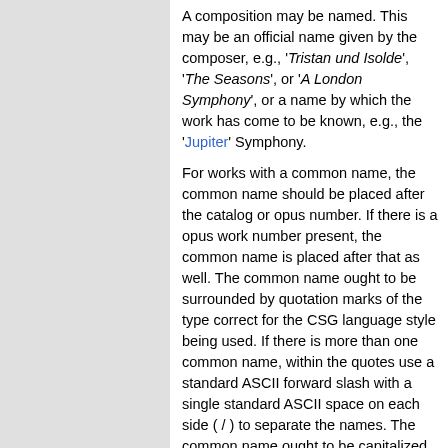A composition may be named. This may be an official name given by the composer, e.g., 'Tristan und Isolde', 'The Seasons', or 'A London Symphony', or a name by which the work has come to be known, e.g., the 'Jupiter' Symphony.
For works with a common name, the common name should be placed after the catalog or opus number. If there is a opus work number present, the common name is placed after that as well. The common name ought to be surrounded by quotation marks of the type correct for the CSG language style being used. If there is more than one common name, within the quotes use a standard ASCII forward slash with a single standard ASCII space on each side ( / ) to separate the names. The common name ought to be capitalized according to the appropriate CapitalizationStandard for that name's language.
Symphony No. 41 for Orchestra in C